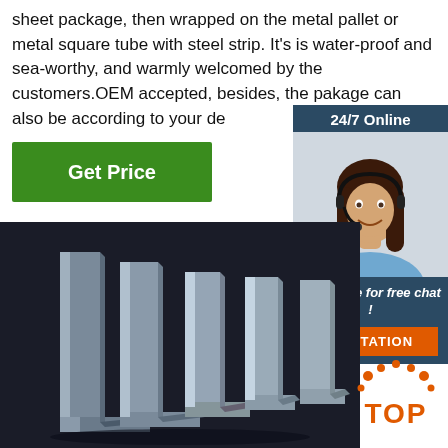sheet package, then wrapped on the metal pallet or metal square tube with steel strip. It's is water-proof and sea-worthy, and warmly welcomed by the customers.OEM accepted, besides, the pakage can also be according to your de...
[Figure (other): Green 'Get Price' button]
[Figure (other): 24/7 Online chat widget with female agent photo, 'Click here for free chat!' text, and orange QUOTATION button]
[Figure (photo): Product photo showing multiple steel angle bars/profiles standing upright against a dark background]
[Figure (logo): Orange/red 'TOP' badge with decorative dots]